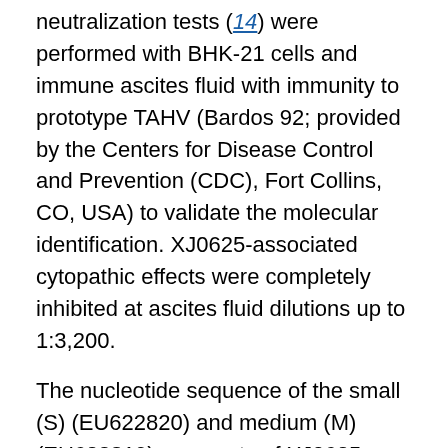neutralization tests (14) were performed with BHK-21 cells and immune ascites fluid with immunity to prototype TAHV (Bardos 92; provided by the Centers for Disease Control and Prevention (CDC), Fort Collins, CO, USA) to validate the molecular identification. XJ0625-associated cytopathic effects were completely inhibited at ascites fluid dilutions up to 1:3,200.
The nucleotide sequence of the small (S) (EU622820) and medium (M) (EU622819) segments of XJ0625 were sequenced by using the primers SF (5'-AGTAGTGTACCCCACTTGAAT AC-3'), SR (5'-CAAATGGATTTGATCCTGATGC-3'), M1F (5'-CACAAGTTCCAAGA TGATGTT-3'), M 1R (5'-CTGTGCCTTCTGCTTGGACTA-3'), M2F (5'-GTCCAAGC AGAAGGCACAGAT-3'), M2R (5'-GTGGTCACTGTACATTCTCCTGAA-3'), M3F (5'-